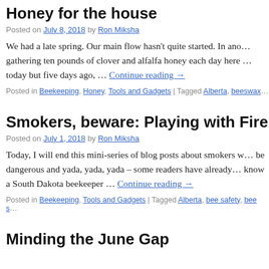Honey for the house
Posted on July 8, 2018 by Ron Miksha
We had a late spring. Our main flow hasn't quite started. In ano… gathering ten pounds of clover and alfalfa honey each day here … today but five days ago, … Continue reading →
Posted in Beekeeping, Honey, Tools and Gadgets | Tagged Alberta, beeswax…
Smokers, beware: Playing with Fire
Posted on July 1, 2018 by Ron Miksha
Today, I will end this mini-series of blog posts about smokers w… be dangerous and yada, yada, yada – some readers have already… know a South Dakota beekeeper … Continue reading →
Posted in Beekeeping, Tools and Gadgets | Tagged Alberta, bee safety, bee s…
Minding the June Gap